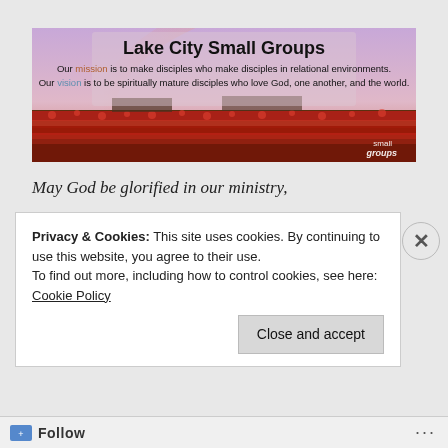[Figure (illustration): Banner image for Lake City Small Groups website. Background shows a field of red tulips under a purple/pink sky with a rainbow. Text overlay reads: 'Lake City Small Groups' (large bold title), 'Our mission is to make disciples who make disciples in relational environments.', 'Our vision is to be spiritually mature disciples who love God, one another, and the world.' A 'small groups' logo appears in the bottom right corner.]
May God be glorified in our ministry,
Privacy & Cookies: This site uses cookies. By continuing to use this website, you agree to their use. To find out more, including how to control cookies, see here: Cookie Policy
Close and accept
Follow